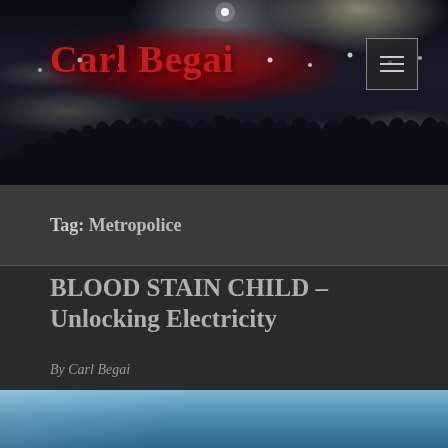Carl Begai
Tag: Metropolice
BLOOD STAIN CHILD – Unlocking Electricity
By Carl Begai
[Figure (photo): Bottom strip of a photo, appears to show a blue/grey metallic surface]